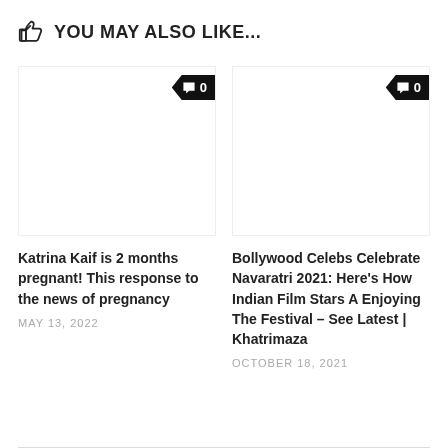YOU MAY ALSO LIKE...
[Figure (other): Article thumbnail placeholder with comment badge showing 0 comments]
[Figure (other): Article thumbnail placeholder with comment badge showing 0 comments]
Katrina Kaif is 2 months pregnant! This response to the news of pregnancy
MAY 13, 2022
Bollywood Celebs Celebrate Navaratri 2021: Here's How Indian Film Stars A Enjoying The Festival – See Latest | Khatrimaza
OCTOBER 18, 2021